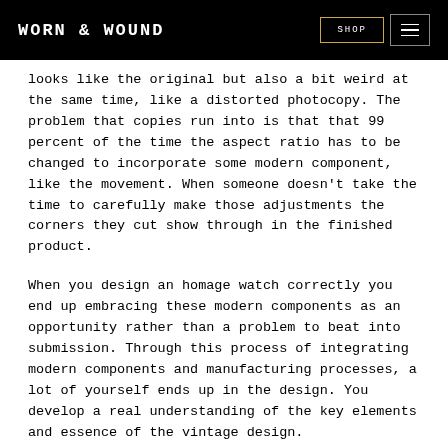WORN & WOUND | SHOP
looks like the original but also a bit weird at the same time, like a distorted photocopy. The problem that copies run into is that that 99 percent of the time the aspect ratio has to be changed to incorporate some modern component, like the movement. When someone doesn't take the time to carefully make those adjustments the corners they cut show through in the finished product.
When you design an homage watch correctly you end up embracing these modern components as an opportunity rather than a problem to beat into submission. Through this process of integrating modern components and manufacturing processes, a lot of yourself ends up in the design. You develop a real understanding of the key elements and essence of the vintage design.